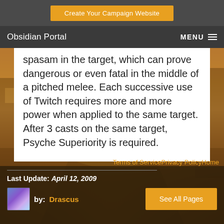Create Your Campaign Website
Obsidian Portal   MENU
spasam in the target, which can prove dangerous or even fatal in the middle of a pitched melee. Each successive use of Twitch requires more and more power when applied to the same target. After 3 casts on the same target, Psyche Superiority is required.
Terms of ServicePrivacy PolicyHome
Last Update: April 12, 2009
by:  Drascus
See All Pages